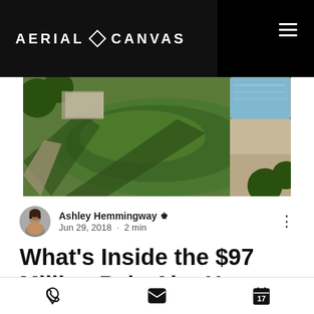AERIAL CANVAS
[Figure (photo): Aerial drone photo of a luxury home with green lawn, pool area, and surrounding trees viewed from above]
Ashley Hemmingway  Jun 29, 2018 · 2 min
What's Inside the $97 Million Palo Alto Home
It's no secret that real estate in the Bay Area is expensive, the median home price is now over $820,000. Sun